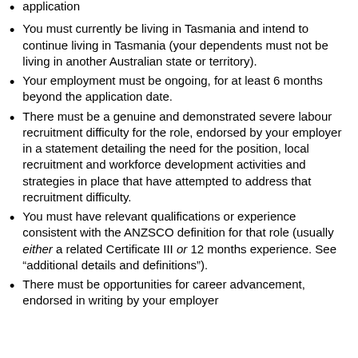application
You must currently be living in Tasmania and intend to continue living in Tasmania (your dependents must not be living in another Australian state or territory).
Your employment must be ongoing, for at least 6 months beyond the application date.
There must be a genuine and demonstrated severe labour recruitment difficulty for the role, endorsed by your employer in a statement detailing the need for the position, local recruitment and workforce development activities and strategies in place that have attempted to address that recruitment difficulty.
You must have relevant qualifications or experience consistent with the ANZSCO definition for that role (usually either a related Certificate III or 12 months experience. See “additional details and definitions”).
There must be opportunities for career advancement, endorsed in writing by your employer